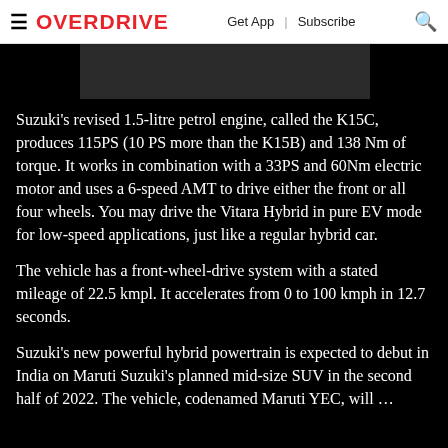≡ OVERDRIVE   Get App | Subscribe 🔍
[Figure (photo): Partial dark image of a vehicle, cropped at top]
Suzuki's revised 1.5-litre petrol engine, called the K15C, produces 115PS (10 PS more than the K15B) and 138 Nm of torque. It works in combination with a 33PS and 60Nm electric motor and uses a 6-speed AMT to drive either the front or all four wheels. You may drive the Vitara Hybrid in pure EV mode for low-speed applications, just like a regular hybrid car.
The vehicle has a front-wheel-drive system with a stated mileage of 22.5 kmpl. It accelerates from 0 to 100 kmph in 12.7 seconds.
Suzuki's new powerful hybrid powertrain is expected to debut in India on Maruti Suzuki's planned mid-size SUV in the second half of 2022. The vehicle, codenamed Maruti YEC, will ...